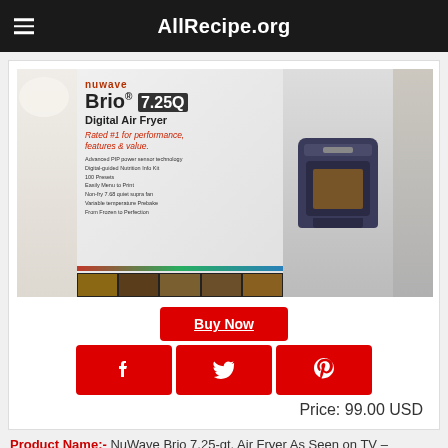AllRecipe.org
[Figure (photo): Photo of NuWave Brio 7.25Q Digital Air Fryer product box on a kitchen counter, showing the air fryer and food images on the packaging.]
Buy Now
[Figure (infographic): Social sharing buttons: Facebook (f), Twitter (bird), Pinterest (p) — all red rounded rectangles with white icons.]
Price: 99.00 USD
Product Name:- NuWave Brio 7.25-qt. Air Fryer As Seen on TV –